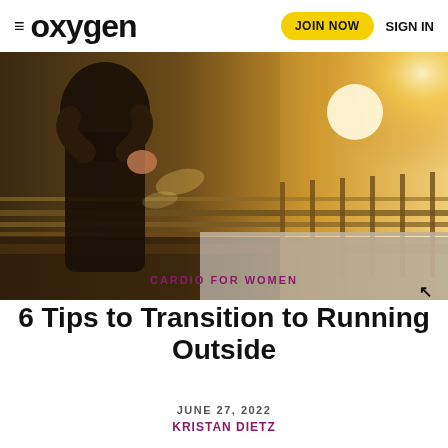≡ oxygen  JOIN NOW  SIGN IN
[Figure (photo): A woman runner in dark athletic wear running outdoors near a railing with bright sunlight and golden bokeh in the background]
CARDIO FOR WOMEN
6 Tips to Transition to Running Outside
JUNE 27, 2022
KRISTAN DIETZ